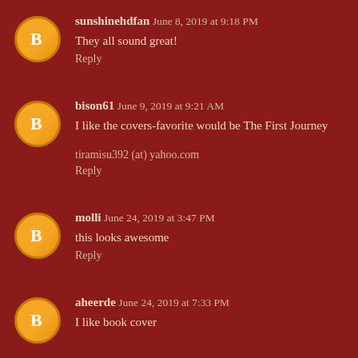sunshinehdfan June 8, 2019 at 9:18 PM
They all sound great!
Reply
bison61 June 9, 2019 at 9:21 AM
I like the covers-favorite would be The First Journey
tiramisu392 (at) yahoo.com
Reply
molli June 24, 2019 at 3:47 PM
this looks awesome
Reply
aheerde June 24, 2019 at 7:33 PM
I like book cover